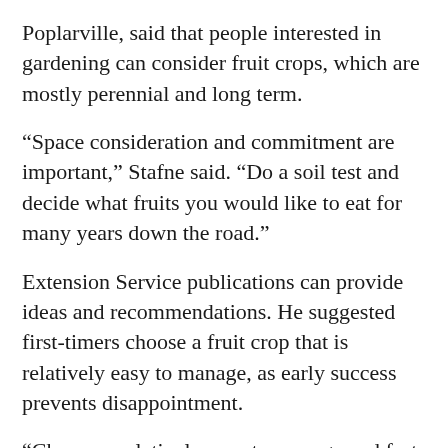Poplarville, said that people interested in gardening can consider fruit crops, which are mostly perennial and long term.
“Space consideration and commitment are important,” Stafne said. “Do a soil test and decide what fruits you would like to eat for many years down the road.”
Extension Service publications can provide ideas and recommendations. He suggested first-timers choose a fruit crop that is relatively easy to manage, as early success prevents disappointment.
“Choose a relatively easy to manage and fast-bearing crop such as blackberry or blueberry to start with,” Stafne said. “Start small, because it can be more work than you think. Also, just a few plants can produce a lot of fruit; maybe more than you can eat.”
All fruit crops require some level of maintenance and will